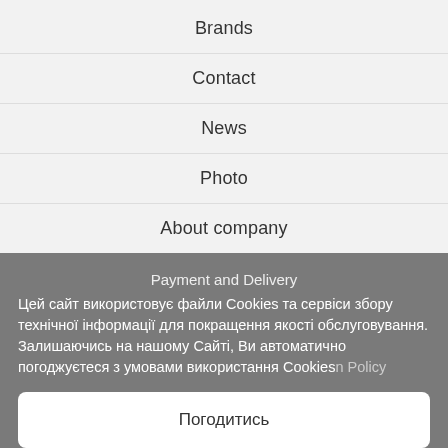Brands
Contact
News
Photo
About company
Payment and Delivery
Цей сайт використовує файли Cookies та сервіси збору технічної інформації для покращення якості обслуговування. Залишаючись на нашому Сайті, Ви автоматично погоджуєтеся з умовами використання Cookies. n Policy
Погодитись
Політика Cookies
Follow us
[Figure (illustration): Social media icons row: circular icons for various social media platforms in teal outline style, plus a large gray circle icon on the left]